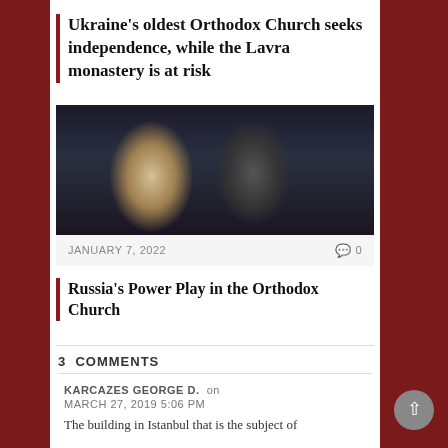Ukraine's oldest Orthodox Church seeks independence, while the Lavra monastery is at risk
[Figure (photo): Two Orthodox Church leaders in ceremonial robes, one in white and gold vestments, another in black, surrounded by other clergy and people in the background.]
JANUARY 7, 2022   💬 0
Russia's Power Play in the Orthodox Church
3 COMMENTS
KARCAZES GEORGE D. on
MARCH 27, 2019 5:06 PM
The building in Istanbul that is the subject of